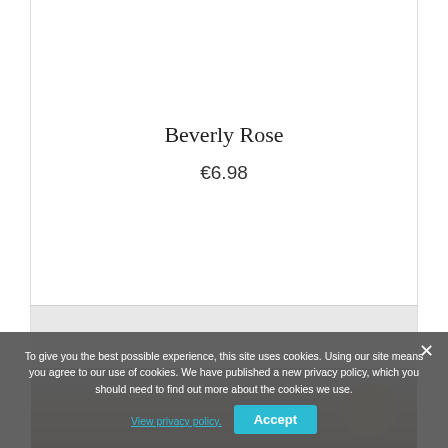Beverly Rose
€6.98
[Figure (photo): Bottom section of a product card with a dark brownish image area and a brown circle element visible in the lower right]
To give you the best possible experience, this site uses cookies. Using our site means you agree to our use of cookies. We have published a new privacy policy, which you should need to find out more about the cookies we use. View privacy policy.
Accept